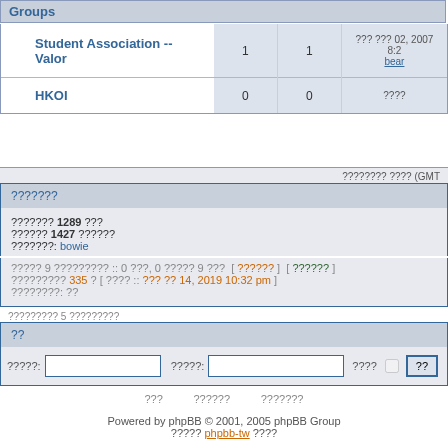Groups
| Forum |  |  |
| --- | --- | --- |
| Student Association -- Valor | 1 | 1 | ??? ??? 02, 2007 8:2
bear |
| HKOI | 0 | 0 | ???? |
???????? ???? (GMT
???????
??????? 1289 ???
?????? 1427 ??????
???????: bowie
????? 9 ????????? :: 0 ???, 0 ????? 9 ???  [ ?????? ]  [ ?????? ]
????????? 335 ? [ ???? :: ??? ?? 14, 2019 10:32 pm ]
????????: ??
????????? 5 ?????????
??
?????: [input] ?????: [input] ???? [checkbox] [??]
???  ??????  ???????
Powered by phpBB © 2001, 2005 phpBB Group
????? phpbb-tw ????